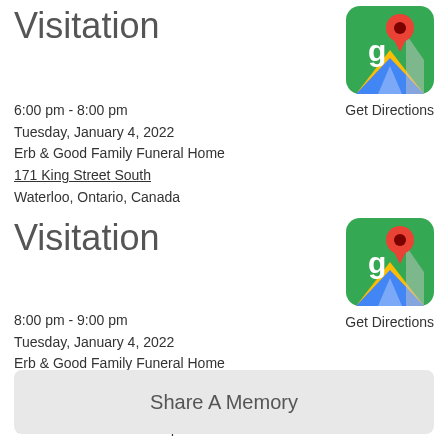Visitation
6:00 pm - 8:00 pm
Tuesday, January 4, 2022
Erb & Good Family Funeral Home
171 King Street South
Waterloo, Ontario, Canada
[Figure (logo): Google Maps app icon]
Get Directions
Visitation
8:00 pm - 9:00 pm
Tuesday, January 4, 2022
Erb & Good Family Funeral Home
171 King Street South
Waterloo, Ontario, Canada
Vaccine certificate not required
[Figure (logo): Google Maps app icon]
Get Directions
Share A Memory